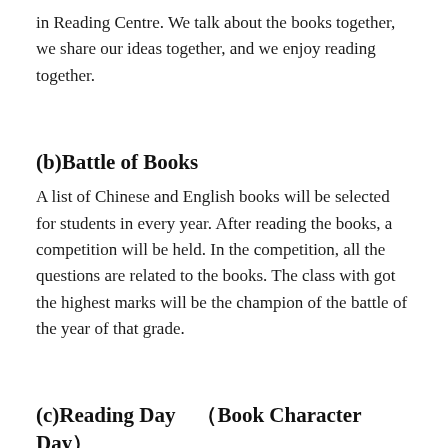in Reading Centre. We talk about the books together, we share our ideas together, and we enjoy reading together.
(b)Battle of Books
A list of Chinese and English books will be selected for students in every year. After reading the books, a competition will be held. In the competition, all the questions are related to the books. The class with got the highest marks will be the champion of the battle of the year of that grade.
(c)Reading Day　（Book Character Day）
This is one of the signature events in A-School. Everyone, including students and teachers, will dress up as a character in the book on Reading day. A series of reading activities will be held on that day: reading games, creative writing event, catwalk show, prize presentation… We share our favorite books with others.